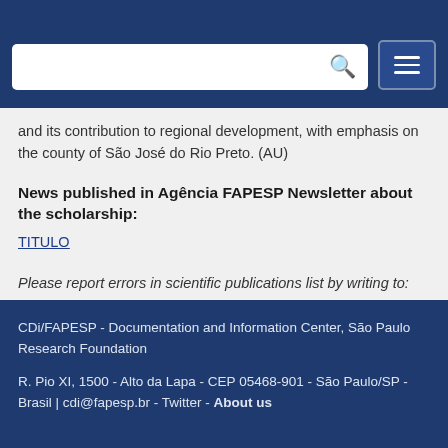[Figure (logo): FAPESP 60 YEARS 1962-2022 logo in top right corner]
Navigation bar with search box and menu button
and its contribution to regional development, with emphasis on the county of São José do Rio Preto. (AU)
News published in Agência FAPESP Newsletter about the scholarship:
TITULO
Please report errors in scientific publications list by writing to:
cdi@fapesp.br.
CDi/FAPESP - Documentation and Information Center, São Paulo Research Foundation
R. Pio XI, 1500 - Alto da Lapa - CEP 05468-901 - São Paulo/SP - Brasil | cdi@fapesp.br - Twitter - About us